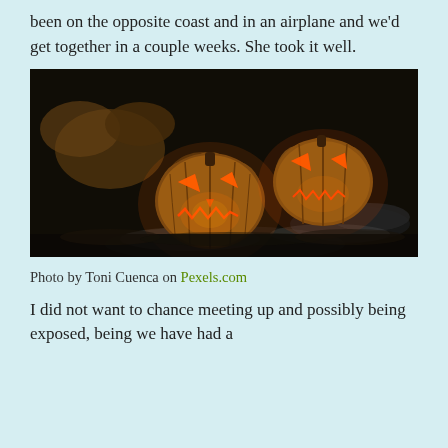been on the opposite coast and in an airplane and we'd get together in a couple weeks. She took it well.
[Figure (photo): Two glowing jack-o-lantern pumpkins with carved scary faces lit from inside with orange-red light, set against a dark background with dried leaves and rocks.]
Photo by Toni Cuenca on Pexels.com
I did not want to chance meeting up and possibly being exposed, being we have had a